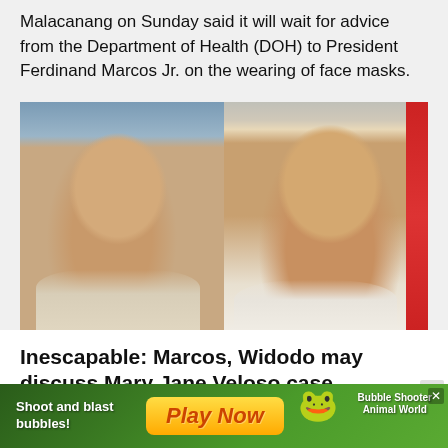Malacanang on Sunday said it will wait for advice from the Department of Health (DOH) to President Ferdinand Marcos Jr. on the wearing of face masks.
[Figure (photo): Split photo showing two men: on the left, President Ferdinand Marcos Jr. wearing a barong tagalog; on the right, Indonesian President Joko Widodo in a white shirt with a red and white flag visible in the background.]
Inescapable: Marcos, Widodo may discuss Mary Jane Veloso case
President Ferdinand Marcos Jr. may discuss Mary Jane Veloso's drug case with Indonesian President Joko Widodo,
[Figure (illustration): Advertisement banner: green background with text 'Shoot and blast bubbles! Play Now' and game branding 'Bubble Shooter Animal World' with colorful mascot character.]